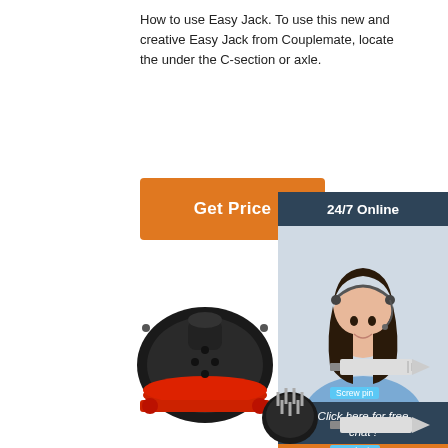How to use Easy Jack. To use this new and creative Easy Jack from Couplemate, locate the under the C-section or axle.
[Figure (other): Orange 'Get Price' button]
[Figure (other): 24/7 Online customer service sidebar with photo of woman wearing headset, 'Click here for free chat!' text, and orange QUOTATION button]
[Figure (photo): Black industrial electrical connector with red base plate and separate pin cluster component]
[Figure (engineering-diagram): Screw pin diagram with blue label]
[Figure (engineering-diagram): Punch pin diagram with blue label]